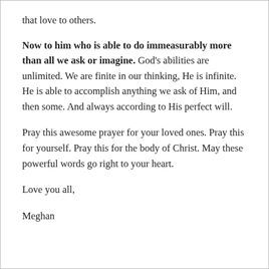that love to others.
Now to him who is able to do immeasurably more than all we ask or imagine. God’s abilities are unlimited. We are finite in our thinking, He is infinite. He is able to accomplish anything we ask of Him, and then some. And always according to His perfect will.
Pray this awesome prayer for your loved ones. Pray this for yourself. Pray this for the body of Christ. May these powerful words go right to your heart.
Love you all,
Meghan